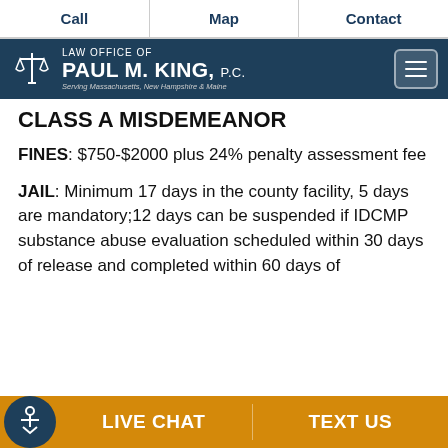Call | Map | Contact
[Figure (logo): Law Office of Paul M. King, P.C. logo with scales of justice icon. Serving Massachusetts, New Hampshire & Maine.]
CLASS A MISDEMEANOR
FINES: $750-$2000 plus 24% penalty assessment fee
JAIL: Minimum 17 days in the county facility, 5 days are mandatory;12 days can be suspended if IDCMP substance abuse evaluation scheduled within 30 days of release and completed within 60 days of
LIVE CHAT | TEXT US